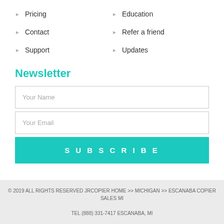Pricing
Education
Contact
Refer a friend
Support
Updates
Newsletter
Your Name
Your Email
SUBSCRIBE
© 2019 ALL RIGHTS RESERVED JRCOPIER HOME >> MICHIGAN >> ESCANABA COPIER SALES MI
TEL (888) 331-7417 ESCANABA, MI